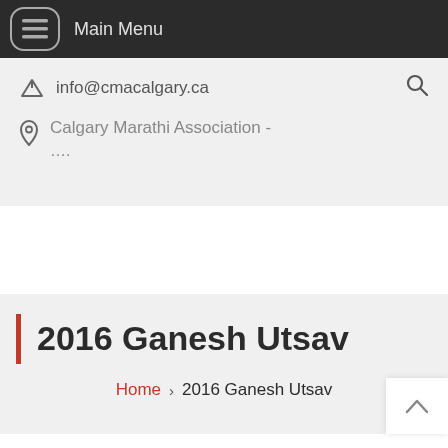Main Menu
info@cmacalgary.ca
Calgary Marathi Association - ....
2016 Ganesh Utsav
Home > 2016 Ganesh Utsav